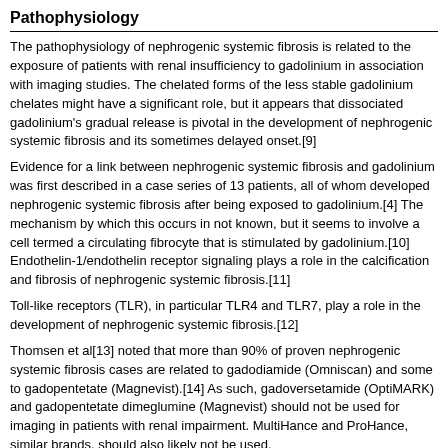Pathophysiology
The pathophysiology of nephrogenic systemic fibrosis is related to the exposure of patients with renal insufficiency to gadolinium in association with imaging studies. The chelated forms of the less stable gadolinium chelates might have a significant role, but it appears that dissociated gadolinium's gradual release is pivotal in the development of nephrogenic systemic fibrosis and its sometimes delayed onset.[9]
Evidence for a link between nephrogenic systemic fibrosis and gadolinium was first described in a case series of 13 patients, all of whom developed nephrogenic systemic fibrosis after being exposed to gadolinium.[4] The mechanism by which this occurs in not known, but it seems to involve a cell termed a circulating fibrocyte that is stimulated by gadolinium.[10] Endothelin-1/endothelin receptor signaling plays a role in the calcification and fibrosis of nephrogenic systemic fibrosis.[11]
Toll-like receptors (TLR), in particular TLR4 and TLR7, play a role in the development of nephrogenic systemic fibrosis.[12]
Thomsen et al[13] noted that more than 90% of proven nephrogenic systemic fibrosis cases are related to gadodiamide (Omniscan) and some to gadopentetate (Magnevist).[14] As such, gadoversetamide (OptiMARK) and gadopentetate dimeglumine (Magnevist) should not be used for imaging in patients with renal impairment. MultiHance and ProHance, similar brands, should also likely not be used.
The safety of gadopentetate linear product might be no different from macrocyclic preparations such as gadodiamide (Omniscan), but guidelines should be followed in all gadolinium products.[15]